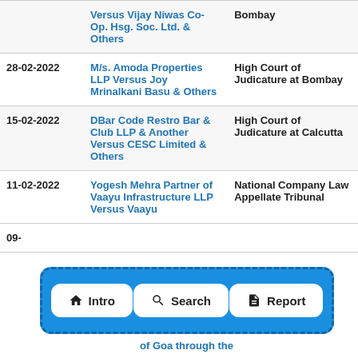| Date | Case | Court |
| --- | --- | --- |
|  | Versus Vijay Niwas Co-Op. Hsg. Soc. Ltd. & Others | Bombay |
| 28-02-2022 | M/s. Amoda Properties LLP Versus Joy Mrinalkani Basu & Others | High Court of Judicature at Bombay |
| 15-02-2022 | DBar Code Restro Bar & Club LLP & Another Versus CESC Limited & Others | High Court of Judicature at Calcutta |
| 11-02-2022 | Yogesh Mehra Partner of Vaayu Infrastructure LLP Versus Vaayu | National Company Law Appellate Tribunal |
| 09-... |  | ... |
[Figure (infographic): Navigation bar overlay with blue dashed border containing three white buttons: Intro (house icon), Search (magnifying glass icon), Report (document icon)]
of Goa through the